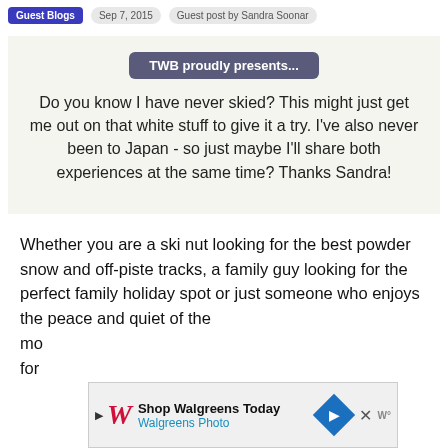Guest Blogs  Sep 7, 2015  Guest post by Sandra Soonar
TWB proudly presents...
Do you know I have never skied? This might just get me out on that white stuff to give it a try. I've also never been to Japan - so just maybe I'll share both experiences at the same time? Thanks Sandra!
Whether you are a ski nut looking for the best powder snow and off-piste tracks, a family guy looking for the perfect family holiday spot or just someone who enjoys the peace and quiet of the mo... at... ight for...
[Figure (other): Walgreens advertisement banner: Shop Walgreens Today, Walgreens Photo, with Walgreens logo and directional arrow icon, close button X, and W logo]